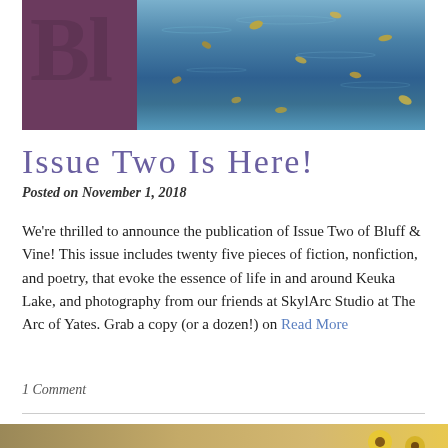[Figure (photo): Header image with purple/mauve background on left showing partial letters 'Bl' in large serif font, and a nature/water scene on the right showing blue water with autumn leaves floating on it.]
Issue Two Is Here!
Posted on November 1, 2018
We're thrilled to announce the publication of Issue Two of Bluff & Vine! This issue includes twenty five pieces of fiction, nonfiction, and poetry, that evoke the essence of life in and around Keuka Lake, and photography from our friends at SkylArc Studio at The Arc of Yates. Grab a copy (or a dozen!) on Read More
1 Comment
[Figure (photo): Partial bottom image showing a warm-toned outdoor scene with sunflowers visible on the right side, appears to be the beginning of the next article's header image.]